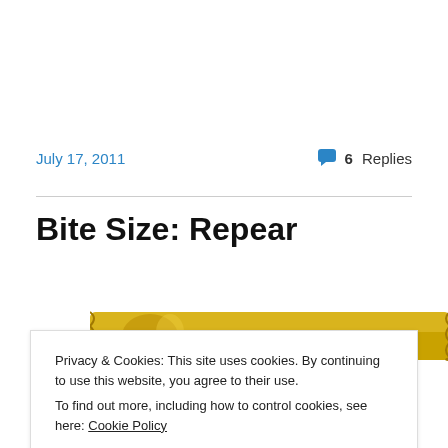July 17, 2011
6 Replies
Bite Size: Repear
[Figure (photo): A gold/yellow wrapped candy bar (Repear) photographed against a white background.]
Privacy & Cookies: This site uses cookies. By continuing to use this website, you agree to their use.
To find out more, including how to control cookies, see here: Cookie Policy
Close and accept